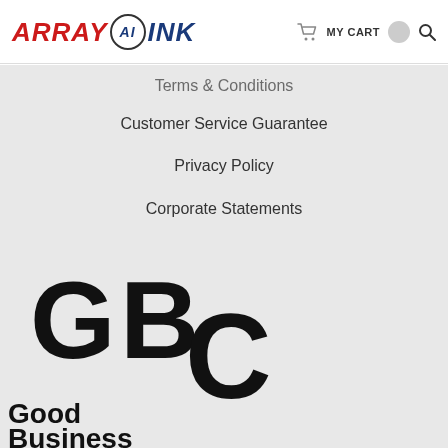[Figure (logo): Array AI Ink logo with red italic ARRAY text, circled AI letters in dark blue, and dark blue italic INK text]
Terms & Conditions
Customer Service Guarantee
Privacy Policy
Corporate Statements
[Figure (logo): GBC Good Business Colorado logo with large stacked GBC letterforms and text Good Business below]